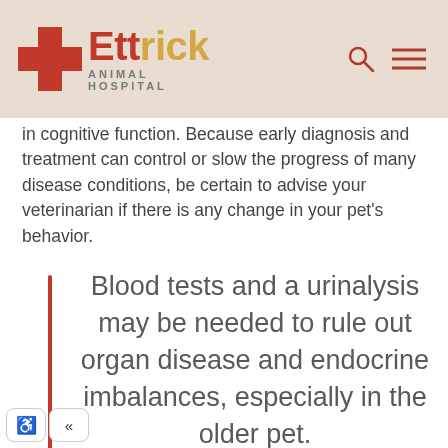Ettrick Animal Hospital
in cognitive function. Because early diagnosis and treatment can control or slow the progress of many disease conditions, be certain to advise your veterinarian if there is any change in your pet's behavior.
Blood tests and a urinalysis may be needed to rule out organ disease and endocrine imbalances, especially in the older pet.